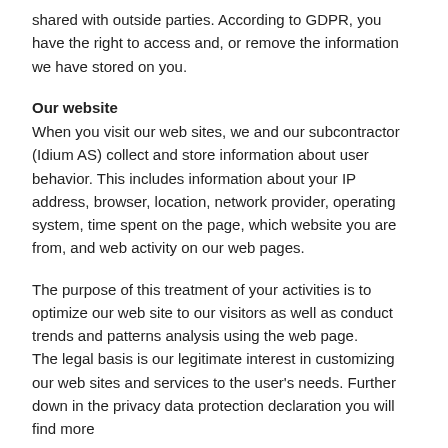shared with outside parties. According to GDPR, you have the right to access and, or remove the information we have stored on you.
Our website
When you visit our web sites, we and our subcontractor (Idium AS) collect and store information about user behavior. This includes information about your IP address, browser, location, network provider, operating system, time spent on the page, which website you are from, and web activity on our web pages.
The purpose of this treatment of your activities is to optimize our web site to our visitors as well as conduct trends and patterns analysis using the web page.
The legal basis is our legitimate interest in customizing our web sites and services to the user's needs. Further down in the privacy data protection declaration you will find more